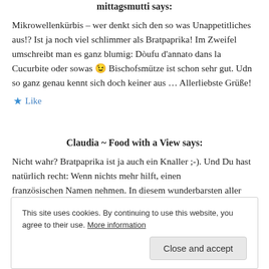mittagsmutti says:
Mikrowellenkürbis – wer denkt sich den so was Unappetitliches aus!? Ist ja noch viel schlimmer als Bratpaprika! Im Zweifel umschreibt man es ganz blumig: Dòufu d'annato dans la Cucurbite oder sowas 😉 Bischofsmütze ist schon sehr gut. Udn so ganz genau kennt sich doch keiner aus … Allerliebste Grüße!
★ Like
Claudia ~ Food with a View says:
Nicht wahr? Bratpaprika ist ja auch ein Knaller ;-). Und Du hast natürlich recht: Wenn nichts mehr hilft, einen französischen Namen nehmen. In diesem wunderbarsten aller...
This site uses cookies. By continuing to use this website, you agree to their use. More information
Close and accept